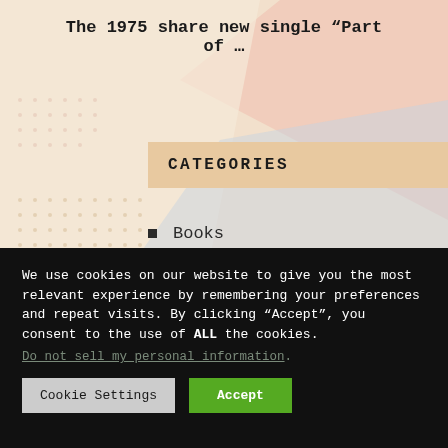The 1975 share new single “Part of …
CATEGORIES
Books
Events
Fashion
Gossip & News
We use cookies on our website to give you the most relevant experience by remembering your preferences and repeat visits. By clicking “Accept”, you consent to the use of ALL the cookies.
Do not sell my personal information.
Cookie Settings
Accept